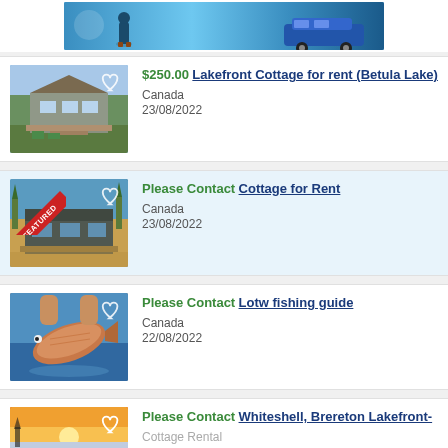[Figure (photo): Blue banner advertisement at the top of the page]
[Figure (photo): Thumbnail photo of a lakefront cottage with wooden exterior and deck]
$250.00 Lakefront Cottage for rent (Betula Lake)
Canada
23/08/2022
[Figure (photo): Thumbnail of a featured cottage with red FEATURED ribbon banner]
Please Contact Cottage for Rent
Canada
23/08/2022
[Figure (photo): Thumbnail photo of a large fish being held over water]
Please Contact Lotw fishing guide
Canada
22/08/2022
[Figure (photo): Thumbnail photo of a lake at sunset with warm orange sky]
Please Contact Whiteshell, Brereton Lakefront- Cottage Rental